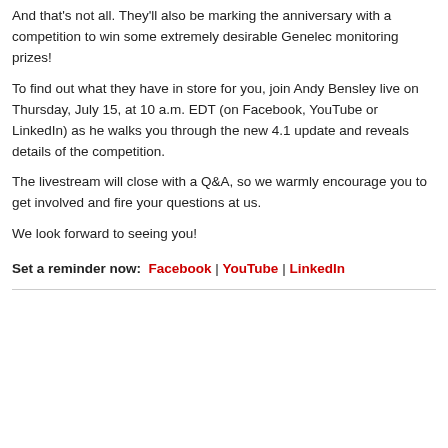And that's not all. They'll also be marking the anniversary with a competition to win some extremely desirable Genelec monitoring prizes!
To find out what they have in store for you, join Andy Bensley live on Thursday, July 15, at 10 a.m. EDT (on Facebook, YouTube or LinkedIn) as he walks you through the new 4.1 update and reveals details of the competition.
The livestream will close with a Q&A, so we warmly encourage you to get involved and fire your questions at us.
We look forward to seeing you!
Set a reminder now:  Facebook | YouTube | LinkedIn